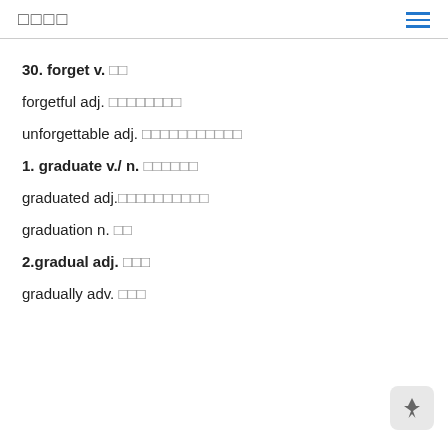□□□□
30. forget v. □□
forgetful adj. □□□□□□□□
unforgettable adj. □□□□□□□□□□□
1. graduate v./ n. □□□□□□
graduated adj.□□□□□□□□□□
graduation n. □□
2.gradual adj. □□□
gradually adv. □□□